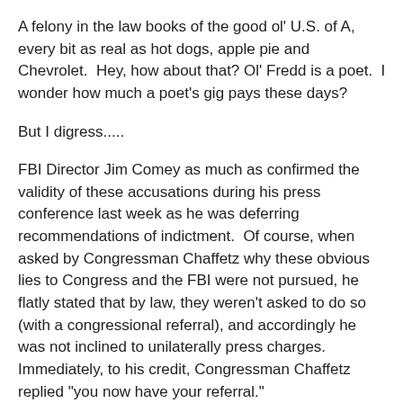A felony in the law books of the good ol' U.S. of A, every bit as real as hot dogs, apple pie and Chevrolet.  Hey, how about that? Ol' Fredd is a poet.  I wonder how much a poet's gig pays these days?
But I digress.....
FBI Director Jim Comey as much as confirmed the validity of these accusations during his press conference last week as he was deferring recommendations of indictment.  Of course, when asked by Congressman Chaffetz why these obvious lies to Congress and the FBI were not pursued, he flatly stated that by law, they weren't asked to do so (with a congressional referral), and accordingly he was not inclined to unilaterally press charges.  Immediately, to his credit, Congressman Chaffetz replied "you now have your referral."